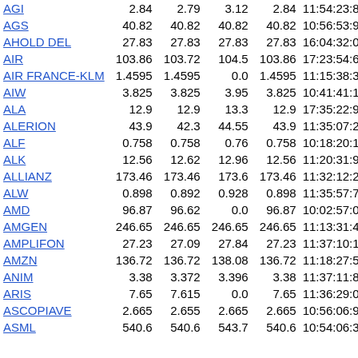| Name | Col1 | Col2 | Col3 | Col4 | Timestamp |
| --- | --- | --- | --- | --- | --- |
| AGI | 2.84 | 2.79 | 3.12 | 2.84 | 11:54:23:852@+120 |
| AGS | 40.82 | 40.82 | 40.82 | 40.82 | 10:56:53:934@+120 |
| AHOLD DEL | 27.83 | 27.83 | 27.83 | 27.83 | 16:04:32:065@+120 |
| AIR | 103.86 | 103.72 | 104.5 | 103.86 | 17:23:54:623@+120 |
| AIR FRANCE-KLM | 1.4595 | 1.4595 | 0.0 | 1.4595 | 11:15:38:341@+120 |
| AIW | 3.825 | 3.825 | 3.95 | 3.825 | 10:41:41:142@+120 |
| ALA | 12.9 | 12.9 | 13.3 | 12.9 | 17:35:22:900@+120 |
| ALERION | 43.9 | 42.3 | 44.55 | 43.9 | 11:35:07:201@+120 |
| ALF | 0.758 | 0.758 | 0.76 | 0.758 | 10:18:20:190@+120 |
| ALK | 12.56 | 12.62 | 12.96 | 12.56 | 11:20:31:981@+120 |
| ALLIANZ | 173.46 | 173.46 | 173.6 | 173.46 | 11:32:12:232@+120 |
| ALW | 0.898 | 0.892 | 0.928 | 0.898 | 11:35:57:704@+120 |
| AMD | 96.87 | 96.62 | 0.0 | 96.87 | 10:02:57:077@+120 |
| AMGEN | 246.65 | 246.65 | 246.65 | 246.65 | 11:13:31:476@+120 |
| AMPLIFON | 27.23 | 27.09 | 27.84 | 27.23 | 11:37:10:158@+120 |
| AMZN | 136.72 | 136.72 | 138.08 | 136.72 | 11:18:27:591@+120 |
| ANIM | 3.38 | 3.372 | 3.396 | 3.38 | 11:37:11:874@+120 |
| ARIS | 7.65 | 7.615 | 0.0 | 7.65 | 11:36:29:013@+120 |
| ASCOPIAVE | 2.665 | 2.655 | 2.665 | 2.665 | 10:56:06:907@+120 |
| ASML | 540.6 | 540.6 | 543.7 | 540.6 | 10:54:06:320@+120 |